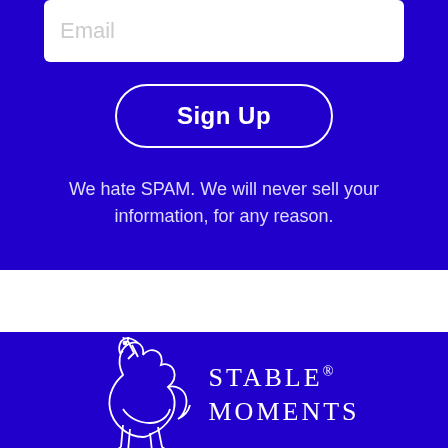Email
Sign Up
We hate SPAM. We will never sell your information, for any reason.
[Figure (logo): Stable Moments logo with white horse illustration and text 'STABLE® MOMENTS' on dark blue background]